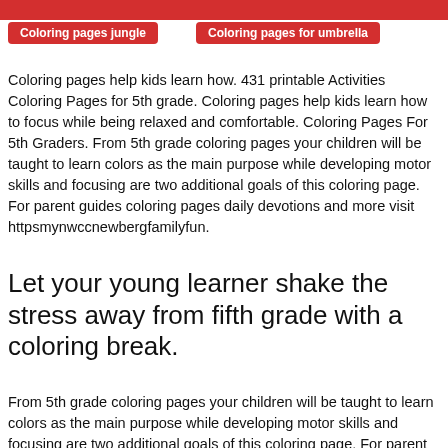Coloring pages jungle
Coloring pages for umbrella
Coloring pages help kids learn how. 431 printable Activities Coloring Pages for 5th grade. Coloring pages help kids learn how to focus while being relaxed and comfortable. Coloring Pages For 5th Graders. From 5th grade coloring pages your children will be taught to learn colors as the main purpose while developing motor skills and focusing are two additional goals of this coloring page. For parent guides coloring pages daily devotions and more visit httpsmynwccnewbergfamilyfun.
Let your young learner shake the stress away from fifth grade with a coloring break.
From 5th grade coloring pages your children will be taught to learn colors as the main purpose while developing motor skills and focusing are two additional goals of this coloring page. For parent guides coloring pages daily devotions and more visit httpsmynwccnewbergfamilyfun. Coloring pages help kids learn how to focus while being relaxed and comfortable. Activities Coloring